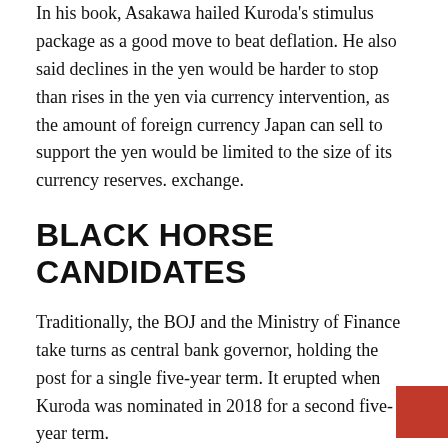In his book, Asakawa hailed Kuroda's stimulus package as a good move to beat deflation. He also said declines in the yen would be harder to stop than rises in the yen via currency intervention, as the amount of foreign currency Japan can sell to support the yen would be limited to the size of its currency reserves. exchange.
BLACK HORSE CANDIDATES
Traditionally, the BOJ and the Ministry of Finance take turns as central bank governor, holding the post for a single five-year term. It erupted when Kuroda was nominated in 2018 for a second five-year term.
If history is any guide, the next BOJ governor would be chosen from the ranks of central banks. But there is a chance that Kishida will opt for a dark horse candidate.